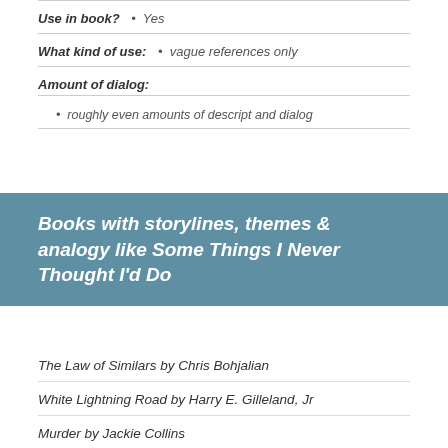Use in book? • Yes
What kind of use: • vague references only
Amount of dialog:
• roughly even amounts of descript and dialog
Books with storylines, themes & analogy like Some Things I Never Thought I'd Do
The Law of Similars by Chris Bohjalian
White Lightning Road by Harry E. Gilleland, Jr
Murder by Jackie Collins
Promised Pictures by Sheila Scott-Miller